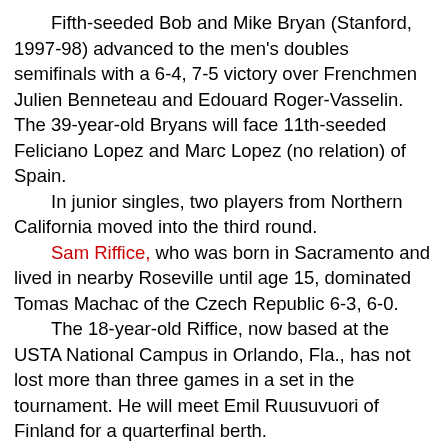Fifth-seeded Bob and Mike Bryan (Stanford, 1997-98) advanced to the men's doubles semifinals with a 6-4, 7-5 victory over Frenchmen Julien Benneteau and Edouard Roger-Vasselin. The 39-year-old Bryans will face 11th-seeded Feliciano Lopez and Marc Lopez (no relation) of Spain.
In junior singles, two players from Northern California moved into the third round.
Sam Riffice, who was born in Sacramento and lived in nearby Roseville until age 15, dominated Tomas Machac of the Czech Republic 6-3, 6-0.
The 18-year-old Riffice, now based at the USTA National Campus in Orlando, Fla., has not lost more than three games in a set in the tournament. He will meet Emil Ruusuvuori of Finland for a quarterfinal berth.
Ruusuvuori upset No. 13 seed Sebastian Korda of Bradenton, Fla., 6-3, 6-3. Korda is the son of Czechs Petr Korda, the 1998 Australian Open champion, and Regina Rajchrtova, who lost in the first round of the 1988 Olympics in Seoul.
Katie Volynets of Walnut Creek in the San Francisco Bay Area defeated Natasha Subhash of Fairfax, Va., in the